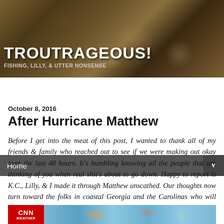[Figure (photo): Website banner header with nature/fish background photo showing dark textured fish or similar subject with muted brown and gold tones]
TROUTRAGEOUS!
Fishing, Lilly, & Utter Nonsense
Home
October 8, 2016
After Hurricane Matthew
Before I get into the meat of this post, I wanted to thank all of my friends & family who reached out to see if we were making out okay over the last 48 hours. It's humbling knowing all the people that are thinking of you when real shit's about to go down. Happy to report is K.C., Lilly, & I made it through Matthew unscathed. Our thoughts now turn toward the folks in coastal Georgia and the Carolinas who will have to deal with this nonsense next...
[Figure (screenshot): CNN Weather map preview showing hurricane or weather system]